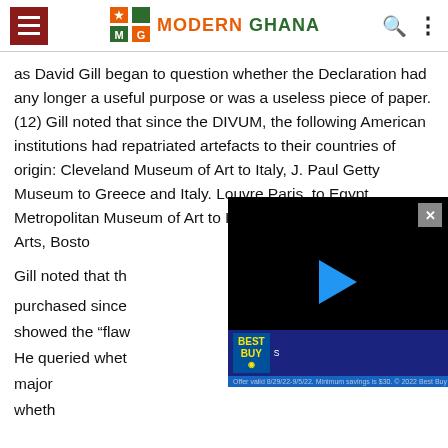Modern Ghana
as David Gill began to question whether the Declaration had any longer a useful purpose or was a useless piece of paper. (12) Gill noted that since the DIVUM, the following American institutions had repatriated artefacts to their countries of origin: Cleveland Museum of Art to Italy, J. Paul Getty Museum to Greece and Italy. Louvre,Paris, to Egypt, Metropolitan Museum of Art to Italy, and Museum of Fine Arts, Boston
[Figure (screenshot): Embedded video player overlay (black background with blue play button) with an X close button, overlapping the article text. A Best Buy advertisement banner appears at the bottom of the video overlay with text: Offer valid 8/29/22-9/5/22. Minimum savings is $30. © 2022 Best Buy]
Gill noted that th... purchased since... showed the "flaw... He queried whet... major ... wheth...